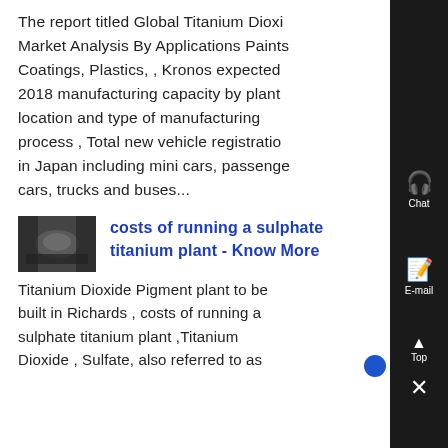The report titled Global Titanium Dioxide Market Analysis By Applications Paints Coatings, Plastics, , Kronos expected 2018 manufacturing capacity by plant location and type of manufacturing process , Total new vehicle registrations in Japan including mini cars, passenger cars, trucks and buses...
[Figure (photo): Small thumbnail image showing a dimly lit industrial or tunnel-like scene]
costs of running a sulphate titanium plant - Know More
Titanium Dioxide Pigment plant to be built in Richards , costs of running a sulphate titanium plant ,Titanium Dioxide , Sulfate, also referred to as